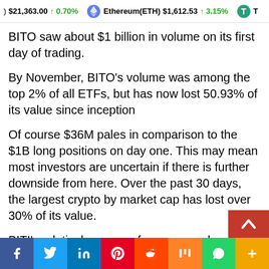) $21,363.00 ↑ 0.70%   Ethereum(ETH) $1,612.53 ↑ 3.15%   T...
BITO saw about $1 billion in volume on its first day of trading.
By November, BITO's volume was among the top 2% of all ETFs, but has now lost 50.93% of its value since inception
Of course $36M pales in comparison to the $1B long positions on day one. This may mean most investors are uncertain if there is further downside from here. Over the past 30 days, the largest crypto by market cap has lost over 30% of its value.
BITI's relatively poor performance on launch day drew jeers from CFA at Bloomberg Intelligence, James Seyffart. On June 21
f  Twitter  in  Pinterest  Reddit  Mix  WhatsApp  More